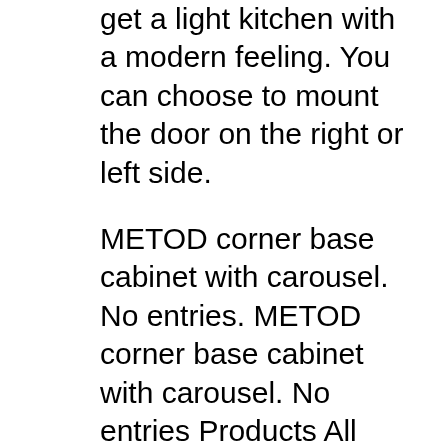get a light kitchen with a modern feeling. You can choose to mount the door on the right or left side.
METOD corner base cabinet with carousel. No entries. METOD corner base cabinet with carousel. No entries Products All products Baby & children Bathroom Beds Chairs, stools & benches Cookware Decoration Desks Garden & outdoor Homeware Indoor gardening Kitchen & Worktops Laundry & cleaning Leisure & safety products Lighting Mattresses Pet shop Rugs Small storage & organisers Smart Home вЂ¦ Adjustable shelf; adapt spacing according to need. Shelf in melamine with a scratch-resistant surface that's